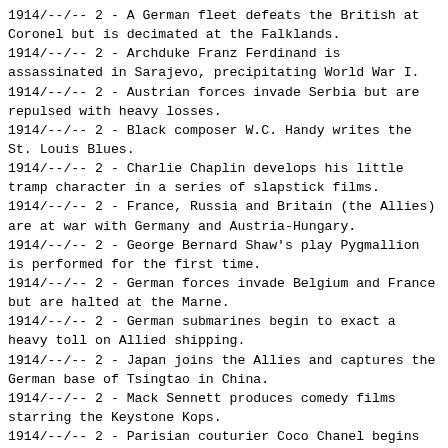1914/--/-- 2 - A German fleet defeats the British at Coronel but is decimated at the Falklands.
1914/--/-- 2 - Archduke Franz Ferdinand is assassinated in Sarajevo, precipitating World War I.
1914/--/-- 2 - Austrian forces invade Serbia but are repulsed with heavy losses.
1914/--/-- 2 - Black composer W.C. Handy writes the St. Louis Blues.
1914/--/-- 2 - Charlie Chaplin develops his little tramp character in a series of slapstick films.
1914/--/-- 2 - France, Russia and Britain (the Allies) are at war with Germany and Austria-Hungary.
1914/--/-- 2 - George Bernard Shaw's play Pygmallion is performed for the first time.
1914/--/-- 2 - German forces invade Belgium and France but are halted at the Marne.
1914/--/-- 2 - German submarines begin to exact a heavy toll on Allied shipping.
1914/--/-- 2 - Japan joins the Allies and captures the German base of Tsingtao in China.
1914/--/-- 2 - Mack Sennett produces comedy films starring the Keystone Kops.
1914/--/-- 2 - Parisian couturier Coco Chanel begins designing clothes.
1914/--/-- 2 - President Wilson declares U.S. neutrality in World War I.
1914/--/-- 2 - Russian forces invade East Prussia but are defeated at the Battle of Tannenberg.
1914/--/-- 2 - The Panama Canal is completed, connecting the Atlantic and Pacific Oceans.
1914/--/-- 2 - [continues...]